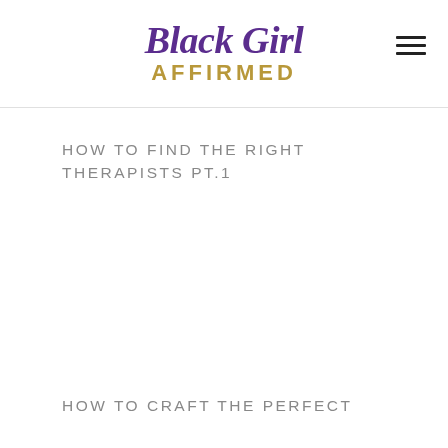Black Girl AFFIRMED
HOW TO FIND THE RIGHT THERAPISTS PT.1
HOW TO CRAFT THE PERFECT